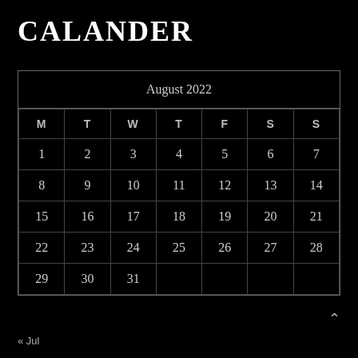CALANDER
| M | T | W | T | F | S | S |
| --- | --- | --- | --- | --- | --- | --- |
| 1 | 2 | 3 | 4 | 5 | 6 | 7 |
| 8 | 9 | 10 | 11 | 12 | 13 | 14 |
| 15 | 16 | 17 | 18 | 19 | 20 | 21 |
| 22 | 23 | 24 | 25 | 26 | 27 | 28 |
| 29 | 30 | 31 |  |  |  |  |
« Jul